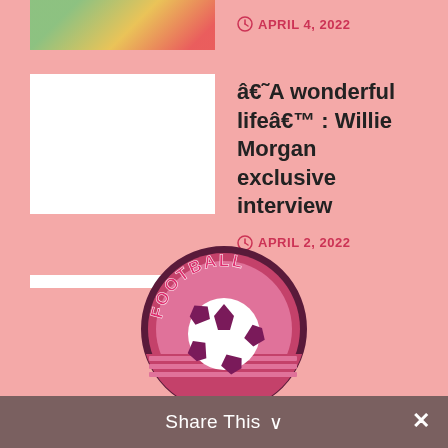APRIL 4, 2022
â€˜A wonderful lifeâ€™ : Willie Morgan exclusive interview
APRIL 2, 2022
Programme Review: Newhall United v Barlestone St Giles
MARCH 31, 2022
[Figure (logo): Football pink circular logo with a soccer ball in the center and the word FOOTBALL written around the top arc in pink bubble letters on a dark purple/maroon background]
Share This